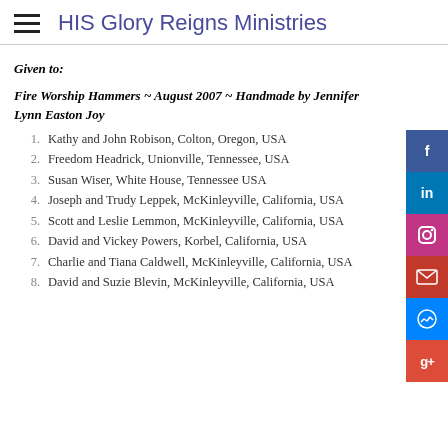HIS Glory Reigns Ministries
Given to:
Fire Worship Hammers ~ August 2007 ~ Handmade by Jennifer Lynn Easton Joy
Kathy and John Robison, Colton, Oregon, USA
Freedom Headrick, Unionville, Tennessee, USA
Susan Wiser, White House, Tennessee USA
Joseph and Trudy Leppek, McKinleyville, California, USA
Scott and Leslie Lemmon, McKinleyville, California, USA
David and Vickey Powers, Korbel, California, USA
Charlie and Tiana Caldwell, McKinleyville, California, USA
David and Suzie Blevin, McKinleyville, California, USA